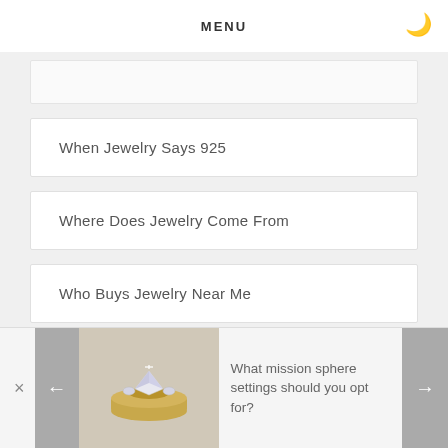MENU
When Jewelry Says 925
Where Does Jewelry Come From
Who Buys Jewelry Near Me
Will Jewelry And Loan
[Figure (infographic): Bottom banner with a diamond ring image, close button (×), left arrow navigation, right arrow navigation, and text: What mission sphere settings should you opt for?]